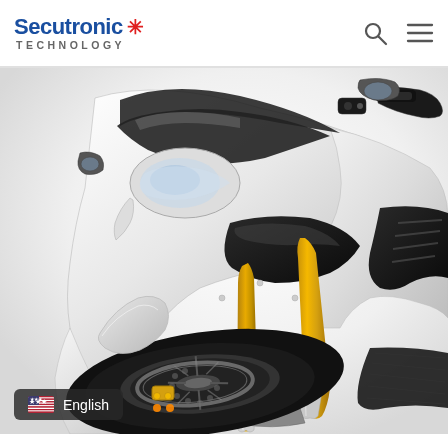Secutronic TECHNOLOGY
[Figure (photo): Front close-up of a white sport motorcycle/electric bike with gold front fork suspension, black fairing accents, dark windscreen, and disc brakes visible on the front wheel. The bike faces slightly left on a white background.]
English